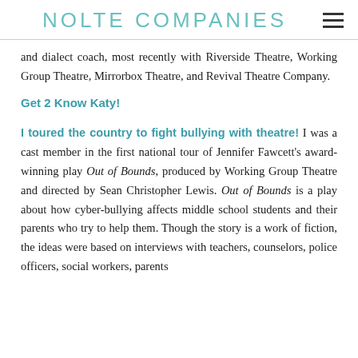NOLTE COMPANIES
and dialect coach, most recently with Riverside Theatre, Working Group Theatre, Mirrorbox Theatre, and Revival Theatre Company.
Get 2 Know Katy!
I toured the country to fight bullying with theatre! I was a cast member in the first national tour of Jennifer Fawcett's award-winning play Out of Bounds, produced by Working Group Theatre and directed by Sean Christopher Lewis. Out of Bounds is a play about how cyber-bullying affects middle school students and their parents who try to help them. Though the story is a work of fiction, the ideas were based on interviews with teachers, counselors, police officers, social workers, parents